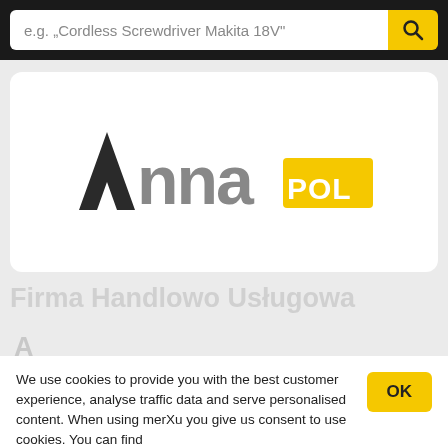[Figure (screenshot): Search bar with placeholder text 'e.g. „Cordless Screwdriver Makita 18V"' and yellow search button with magnifying glass icon]
[Figure (logo): AnnaPOL company logo — stylized 'Anna' in dark gray and 'POL' in white on yellow background]
Firma Handlowo Usługowa
We use cookies to provide you with the best customer experience, analyse traffic data and serve personalised content. When using merXu you give us consent to use cookies. You can find
[Figure (screenshot): Bottom navigation bar with merXu logo, Categories, Cart, Chat, and My Account icons]